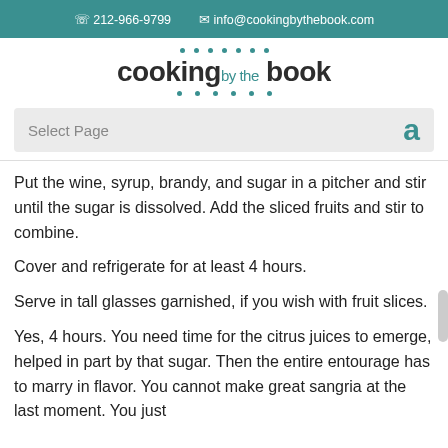📞 212-966-9799   ✉ info@cookingbythebook.com
[Figure (logo): Cooking by the book logo with teal dots above and below the text]
Select Page
Put the wine, syrup, brandy, and sugar in a pitcher and stir until the sugar is dissolved. Add the sliced fruits and stir to combine.
Cover and refrigerate for at least 4 hours.
Serve in tall glasses garnished, if you wish with fruit slices.
Yes, 4 hours. You need time for the citrus juices to emerge, helped in part by that sugar. Then the entire entourage has to marry in flavor. You cannot make great sangria at the last moment. You just